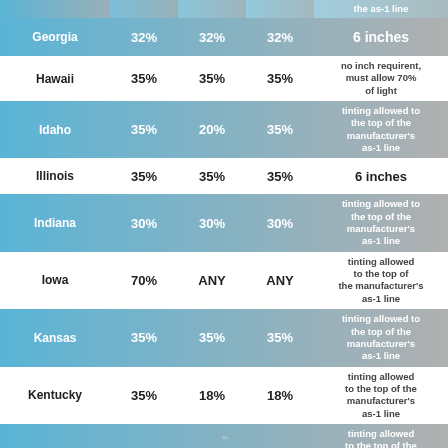| State | Front Side | Back Side | Rear Side | Windshield |
| --- | --- | --- | --- | --- |
| Georgia | 32% | 32% | 32% | 6 inches |
| Hawaii | 35% | 35% | 35% | no inch requirent, must allow 70% of light |
| Idaho | 35% | 20% | 35% | tinting allowed to the top of the manufacturer's as-1 line |
| Illinois | 35% | 35% | 35% | 6 inches |
| Indiana | 30% | 30% | 30% | tinting allowed to the top of the manufacturer's as-1 line |
| Iowa | 70% | ANY | ANY | tinting allowed to the top of the manufacturer's as-1 line |
| Kansas | 35% | 35% | 35% | tinting allowed to the top of the manufacturer's as-1 line |
| Kentucky | 35% | 18% | 18% | tinting allowed to the top of the manufacturer's as-1 line |
| Louisiana | 40% | 25% | 12% | tinting allowed to the top of the manufacturer's as-1 line |
| Maine | 35% | ANY | ANY | 4 inches |